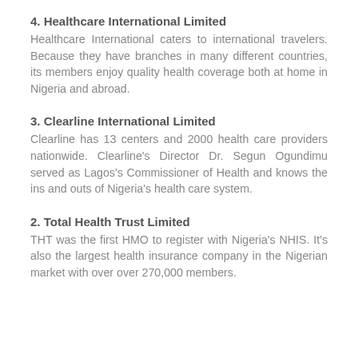4. Healthcare International Limited
Healthcare International caters to international travelers. Because they have branches in many different countries, its members enjoy quality health coverage both at home in Nigeria and abroad.
3. Clearline International Limited
Clearline has 13 centers and 2000 health care providers nationwide. Clearline's Director Dr. Segun Ogundimu served as Lagos's Commissioner of Health and knows the ins and outs of Nigeria's health care system.
2. Total Health Trust Limited
THT was the first HMO to register with Nigeria's NHIS. It's also the largest health insurance company in the Nigerian market with over over 270,000 members.